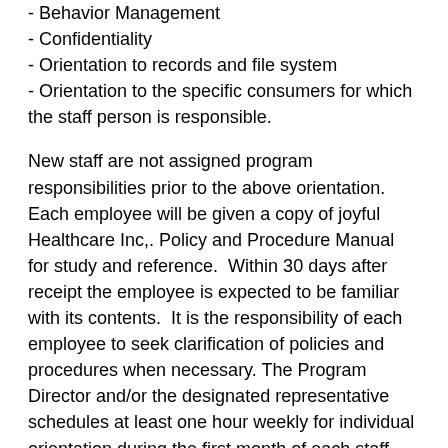- Behavior Management
- Confidentiality
- Orientation to records and file system
- Orientation to the specific consumers for which the staff person is responsible.
New staff are not assigned program responsibilities prior to the above orientation. Each employee will be given a copy of joyful Healthcare Inc,. Policy and Procedure Manual for study and reference.  Within 30 days after receipt the employee is expected to be familiar with its contents.  It is the responsibility of each employee to seek clarification of policies and procedures when necessary. The Program Director and/or the designated representative schedules at least one hour weekly for individual orientation during the first month of each staff person's employment.. Continuing staff development is assured by the Director, by the use of staff meetings, in-service training session, reading assignments, etc. Documentation of staff orientation and training are